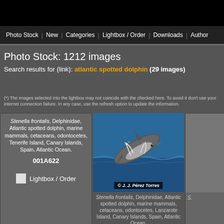Photo Stock | New | Categories | Lightbox / Order | Downloads | Author
Photo Stock: 1212 images
Search results for (link): atlantic spotted dolphin (29 images)
(*) The images selected into the lightbox may not coincide with the checked here. To avoid it don't use your internet connection failure. In any case, use the refresh option to update the information.
Stenella frontalis, Delphinidae, Atlantic spotted dolphin, marine mammals, cetaceans, odontocetes, Tenerife Island, Canary Islands, Spain, Atlantic Ocean.
001A622
Lightbox / Order
[Figure (photo): Dolphin leaping from the ocean, © J. J. Pérez Torres]
Stenella frontalis, Delphinidae, Atlantic spotted dolphin, marine mammals, cetaceans, odontocetes, Lanzarote Island, Canary Islands, Spain, Atlantic Ocean.